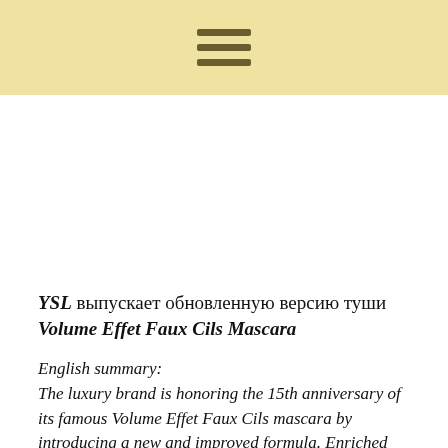[hamburger menu icon]
YSL выпускает обновленную версию туши Volume Effet Faux Cils Mascara
English summary:
The luxury brand is honoring the 15th anniversary of its famous Volume Effet Faux Cils mascara by introducing a new and improved formula. Enriched with natural oils and vitamins, the new formula is